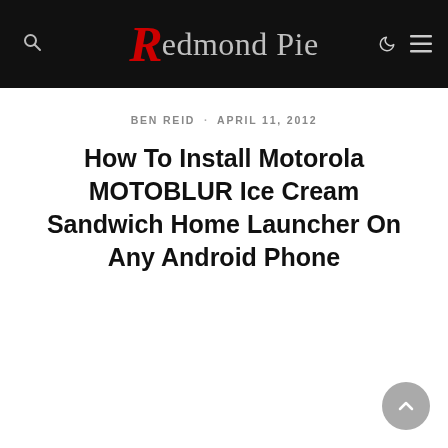Redmond Pie
BEN REID · APRIL 11, 2012
How To Install Motorola MOTOBLUR Ice Cream Sandwich Home Launcher On Any Android Phone